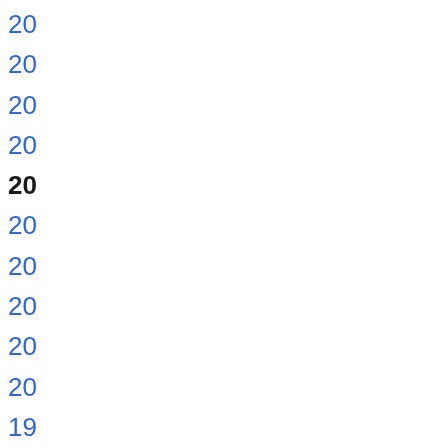20
20
20
20
20
20
20
20
20
20
19
19
19
19
19
20
20